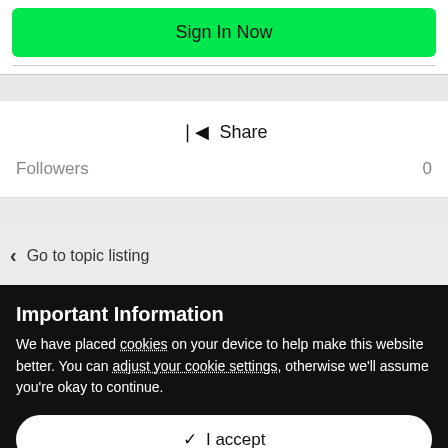Sign In Now
Share
Followers  0
Go to topic listing
Important Information
We have placed cookies on your device to help make this website better. You can adjust your cookie settings, otherwise we'll assume you're okay to continue.
✓  I accept